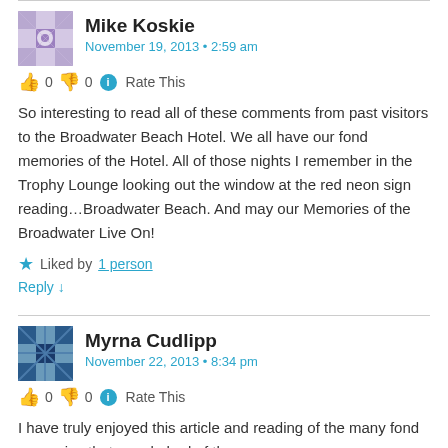Mike Koskie
November 19, 2013 • 2:59 am
👍 0 👎 0 ℹ Rate This
So interesting to read all of these comments from past visitors to the Broadwater Beach Hotel. We all have our fond memories of the Hotel. All of those nights I remember in the Trophy Lounge looking out the window at the red neon sign reading…Broadwater Beach. And may our Memories of the Broadwater Live On!
★ Liked by 1 person
Reply ↓
Myrna Cudlipp
November 22, 2013 • 8:34 pm
👍 0 👎 0 ℹ Rate This
I have truly enjoyed this article and reading of the many fond memories that people had of the